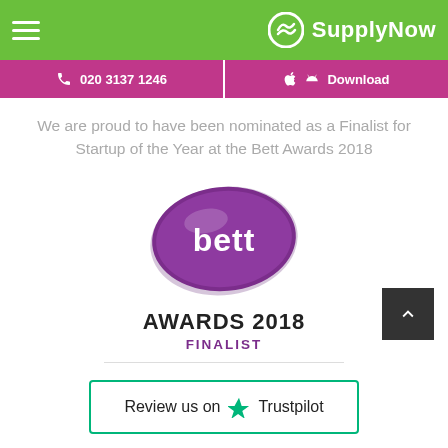SupplyNow — 020 3137 1246 | Download
We are proud to have been nominated as a Finalist for Startup of the Year at the Bett Awards 2018
[Figure (logo): Bett Awards 2018 Finalist badge — purple oval with 'bett' text, below: AWARDS 2018 FINALIST]
Review us on Trustpilot